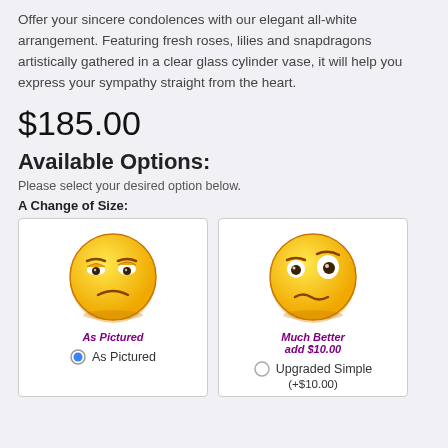Offer your sincere condolences with our elegant all-white arrangement. Featuring fresh roses, lilies and snapdragons artistically gathered in a clear glass cylinder vase, it will help you express your sympathy straight from the heart.
$185.00
Available Options:
Please select your desired option below.
A Change of Size:
[Figure (illustration): Yellow smiley face emoji with skeptical/grumpy expression, labeled 'As Pictured' in purple italic bold text below it, with a selected radio button and text 'As Pictured']
[Figure (illustration): Yellow smiley face emoji with confused/questioning expression, labeled 'Much Better add $10.00' in purple bold italic text below it, with an unselected radio button and text 'Upgraded Simple (+$10.00)']